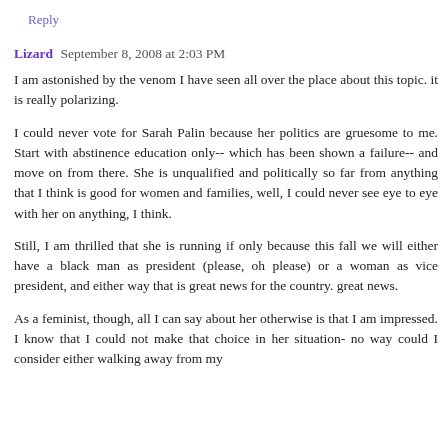Reply
Lizard  September 8, 2008 at 2:03 PM
I am astonished by the venom I have seen all over the place about this topic. it is really polarizing.
I could never vote for Sarah Palin because her politics are gruesome to me. Start with abstinence education only-- which has been shown a failure-- and move on from there. She is unqualified and politically so far from anything that I think is good for women and families, well, I could never see eye to eye with her on anything, I think.
Still, I am thrilled that she is running if only because this fall we will either have a black man as president (please, oh please) or a woman as vice president, and either way that is great news for the country. great news.
As a feminist, though, all I can say about her otherwise is that I am impressed. I know that I could not make that choice in her situation- no way could I consider either walking away from my